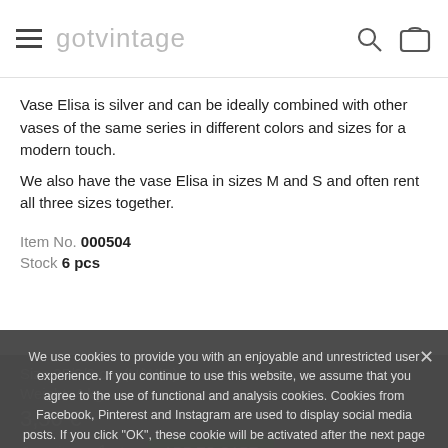gotvintage
Vase Elisa is silver and can be ideally combined with other vases of the same series in different colors and sizes for a modern touch.
We also have the vase Elisa in sizes M and S and often rent all three sizes together.
Item No. 000504
Stock 6 pcs
Size 25/9/9 cm (H/W/D)
Weight: 4 kg
3,50 €
Quantity - 1 +
We use cookies to provide you with an enjoyable and unrestricted user experience. If you continue to use this website, we assume that you agree to the use of functional and analysis cookies. Cookies from Facebook, Pinterest and Instagram are used to display social media posts. If you click "OK", these cookie will be activated after the next page loads. More information about cookies and their deactivation can be found here: Data Protection Declaration.
OK
Accept essential cookies only.